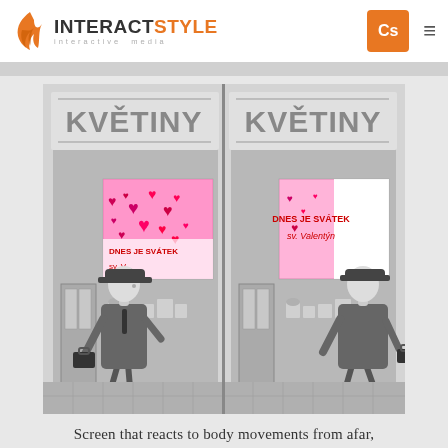INTERACTSTYLE interactive media | Cs
[Figure (illustration): Side-by-side illustration of a flower shop (KVĚTINY) storefront in grayscale. On the left panel, an animated cartoon man in a hat and coat carrying a briefcase stands facing a digital display screen showing pink/red hearts. On the right panel, the same man is walking away and the display now shows text 'DNES JE SVÁTEK sv. Valentýn' (Today is St. Valentine's Day).]
Screen that reacts to body movements from afar,